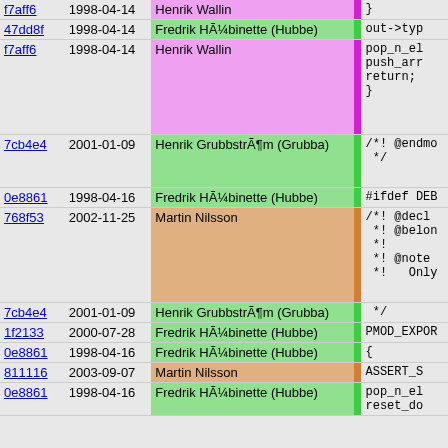| Hash | Date | Author |  | Code |
| --- | --- | --- | --- | --- |
| f7aff6 | 1998-04-14 | Henrik Wallin |  | } |
| 47dd8f | 1998-04-14 | Fredrik HÃ¼binette (Hubbe) |  | out->typ |
| f7aff6 | 1998-04-14 | Henrik Wallin |  | pop_n_el
push_arr
return;
} |
| 7cb4e4 | 2001-01-09 | Henrik GrubbstrÃ¶m (Grubba) |  | /*! @endmo
 */ |
| 0e8861 | 1998-04-16 | Fredrik HÃ¼binette (Hubbe) |  | #ifdef DEB |
| 768f53 | 2002-11-25 | Martin Nilsson |  | /*! @decl
 *! @belon
 *!
 *! @note
 *!   Only |
| 7cb4e4 | 2001-01-09 | Henrik GrubbstrÃ¶m (Grubba) |  | */ |
| 1f2133 | 2000-07-28 | Fredrik HÃ¼binette (Hubbe) |  | PMOD_EXPOR |
| 0e8861 | 1998-04-16 | Fredrik HÃ¼binette (Hubbe) |  | { |
| 811116 | 2003-09-07 | Martin Nilsson |  | ASSERT_S |
| 0e8861 | 1998-04-16 | Fredrik HÃ¼binette (Hubbe) |  | pop_n_el
reset_do |